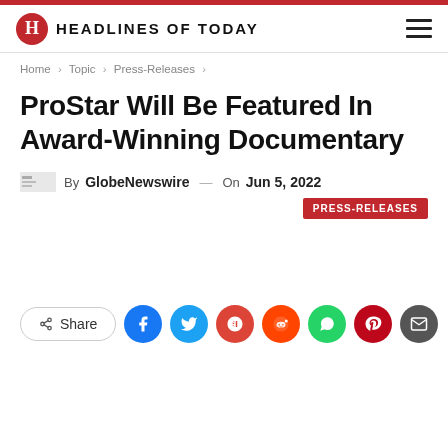HEADLINES OF TODAY
Home > Topic > Press-Releases >
ProStar Will Be Featured In Award-Winning Documentary
By GlobeNewswire — On Jun 5, 2022 PRESS-RELEASES
[Figure (infographic): Social sharing buttons row including Share button, Facebook, Twitter, Google, Reddit, WhatsApp, Pinterest, Email circles]